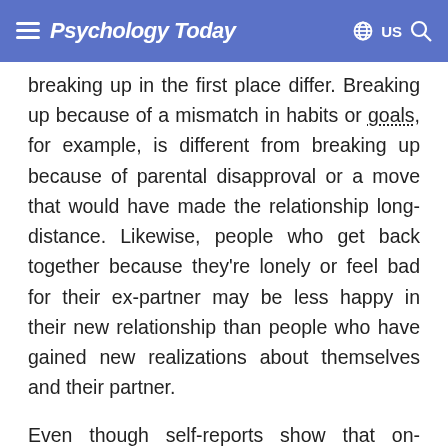Psychology Today  US
breaking up in the first place differ. Breaking up because of a mismatch in habits or goals, for example, is different from breaking up because of parental disapproval or a move that would have made the relationship long-distance. Likewise, people who get back together because they're lonely or feel bad for their ex-partner may be less happy in their new relationship than people who have gained new realizations about themselves and their partner.
Even though self-reports show that on-again/off-again relationships are of lower quality on average (Dailey et al., 2009), there may be subgroups that